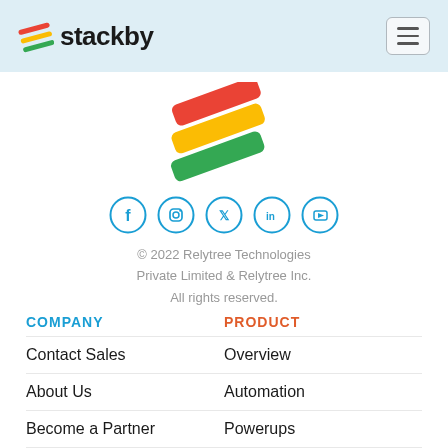[Figure (logo): Stackby logo with colorful stacked lines icon and 'stackby' text in dark, plus hamburger menu button on the right]
[Figure (logo): Stackby large colored logo mark — stacked diagonal lines in red, yellow, and green]
[Figure (illustration): Social media icons in blue circle outlines: Facebook, Instagram, Twitter, LinkedIn, YouTube]
© 2022 Relytree Technologies Private Limited & Relytree Inc. All rights reserved.
COMPANY
PRODUCT
Contact Sales
Overview
About Us
Automation
Become a Partner
Powerups
Customer Love
Solutions (New)
Case Studies
Pricing